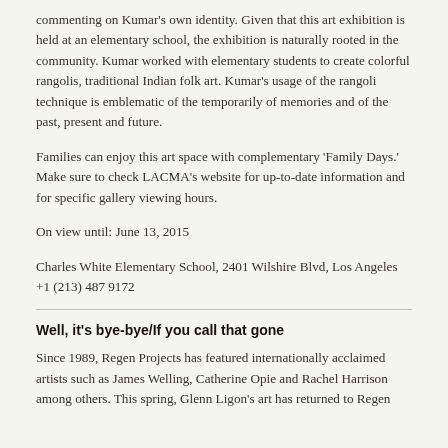commenting on Kumar's own identity. Given that this art exhibition is held at an elementary school, the exhibition is naturally rooted in the community. Kumar worked with elementary students to create colorful rangolis, traditional Indian folk art. Kumar's usage of the rangoli technique is emblematic of the temporarily of memories and of the past, present and future.
Families can enjoy this art space with complementary 'Family Days.' Make sure to check LACMA's website for up-to-date information and for specific gallery viewing hours.
On view until: June 13, 2015
Charles White Elementary School, 2401 Wilshire Blvd, Los Angeles +1 (213) 487 9172
Well, it's bye-bye/If you call that gone
Since 1989, Regen Projects has featured internationally acclaimed artists such as James Welling, Catherine Opie and Rachel Harrison among others. This spring, Glenn Ligon's art has returned to Regen